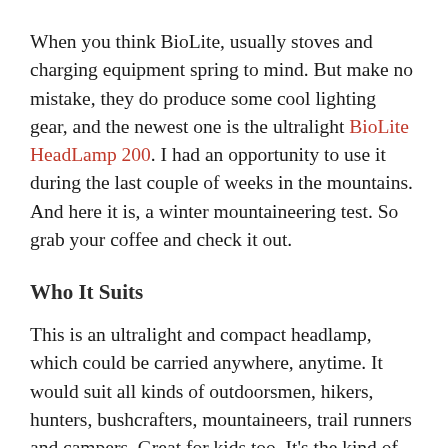When you think BioLite, usually stoves and charging equipment spring to mind. But make no mistake, they do produce some cool lighting gear, and the newest one is the ultralight BioLite HeadLamp 200. I had an opportunity to use it during the last couple of weeks in the mountains. And here it is, a winter mountaineering test. So grab your coffee and check it out.
Who It Suits
This is an ultralight and compact headlamp, which could be carried anywhere, anytime. It would suit all kinds of outdoorsmen, hikers, hunters, bushcrafters, mountaineers, trail runners and campers. Great for kids too. It's the kind of lamp you want to keep close at